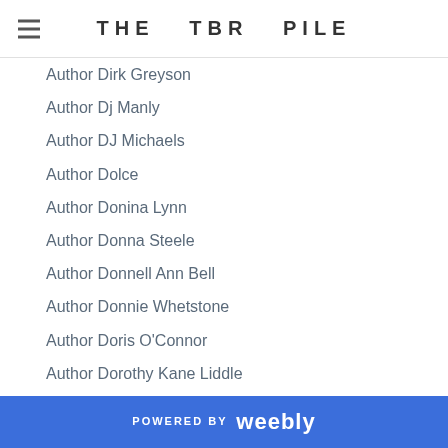THE TBR PILE
Author Dirk Greyson
Author Dj Manly
Author DJ Michaels
Author Dolce
Author Donina Lynn
Author Donna Steele
Author Donnell Ann Bell
Author Donnie Whetstone
Author Doris O'Connor
Author Dorothy Kane Liddle
Author DP Lyle
Author Drea Becraft
Author D.S. Dehel
Author D.X. Luc
Author E.E. Montgomery
Author Eileen Griffin
Author Eleanor Bruce
Author Elena Kincaid
POWERED BY weebly